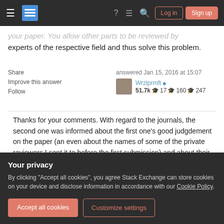Stack Exchange navigation bar with Log in and Sign up buttons
your paper. You allow other parts to be reviewed by experts of the respective field and thus solve this problem.
Share   Improve this answer   Follow
answered Jan 15, 2016 at 15:07
Wrzlprmft ◆
51.7k 🎓17 🎓160 🎓247
Thanks for your comments. With regard to the journals, the second one was informed about the first one's good judgdement on the paper (an even about the names of some of the private reviewers I sent it to before the first submission) and about their
15:19
Your privacy
By clicking "Accept all cookies", you agree Stack Exchange can store cookies on your device and disclose information in accordance with our Cookie Policy.
Accept all cookies   Customize settings